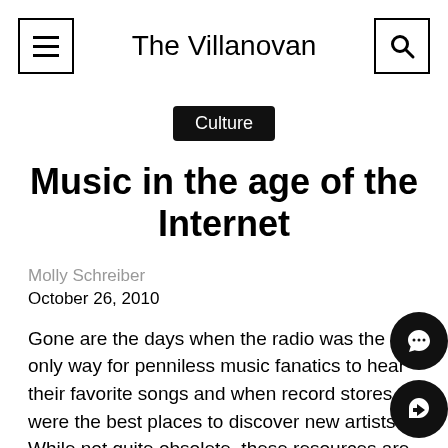The Villanovan
Culture
Music in the age of the Internet
Molly Schreiber
October 26, 2010
Gone are the days when the radio was the only way for penniless music fanatics to hear their favorite songs and when record stores were the best places to discover new artists. While not quite obsolete, these resources are arguably endangered in the wake of